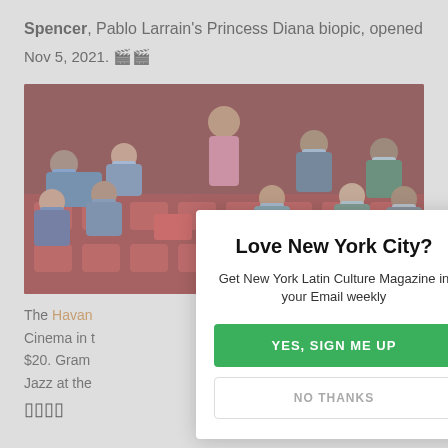Spencer, Pablo Larrain's Princess Diana biopic, opened Nov 5, 2021. 🎬🎬
[Figure (illustration): Illustrated scene of a movie theater audience wearing masks, seated in red chairs, with some empty seats. Figures of diverse people in various colored clothing.]
The Havana Cinema in t $20. Grammy Jazz at the
Love New York City? Get New York Latin Culture Magazine in your Email weekly
YES, SIGN ME UP
NO THANKS